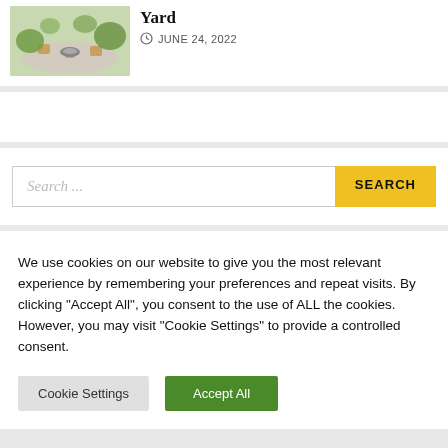[Figure (photo): Outdoor patio with chairs and fire pit surrounded by greenery]
Yard
JUNE 24, 2022
Search ...
We use cookies on our website to give you the most relevant experience by remembering your preferences and repeat visits. By clicking "Accept All", you consent to the use of ALL the cookies. However, you may visit "Cookie Settings" to provide a controlled consent.
Cookie Settings
Accept All